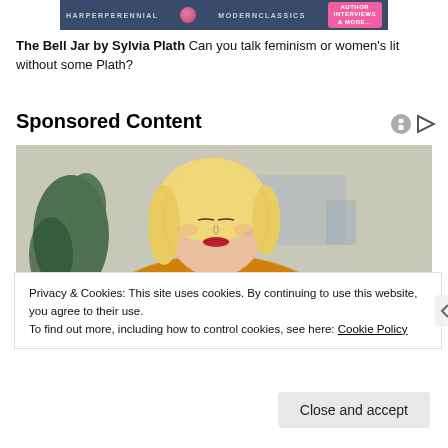[Figure (photo): HarperPerennial Modern Classics banner advertisement with dark blue background, pink circular logo element, and pink button on right]
The Bell Jar by Sylvia Plath Can you talk feminism or women's lit without some Plath?
Sponsored Content
[Figure (photo): Photo of a young blond woman with red lipstick wearing a yellow knit sweater, looking downward, with blurred green plant and grey background]
Privacy & Cookies: This site uses cookies. By continuing to use this website, you agree to their use.
To find out more, including how to control cookies, see here: Cookie Policy
Close and accept